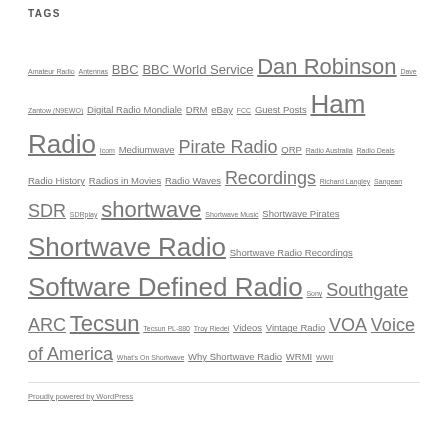TAGS
Amateur Radio Antennas BBC BBC World Service Dan Robinson Dave Zantow (N9EWO) Digital Radio Mondiale DRM eBay FCC Guest Posts Ham Radio Icom Mediumwave Pirate Radio QRP Radio Australia Radio Deals Radio History Radios in Movies Radio Waves Recordings Richard Langley Sangean SDR SDRplay shortwave Shortwave Music Shortwave Pirates Shortwave Radio Shortwave Radio Recordings Software Defined Radio Sony Southgate ARC Tecsun Tecsun PL-880 Troy Riedel Videos Vintage Radio VOA Voice of America What's On Shortwave Why Shortwave Radio WRMI WWII
Proudly powered by WordPress